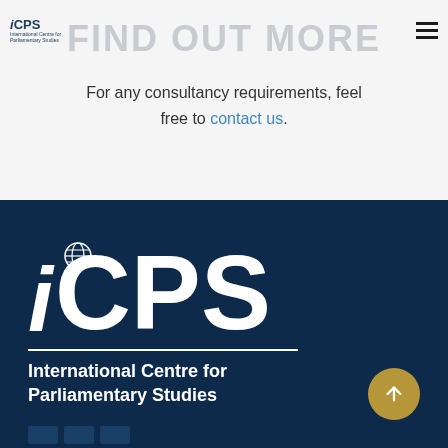iCPS — International Centre for Parliamentary Studies
FIND OUT MORE
For any consultancy requirements, feel free to contact us.
[Figure (logo): iCPS logo — large white text on dark navy background with globe icon, with tagline 'International Centre for Parliamentary Studies']